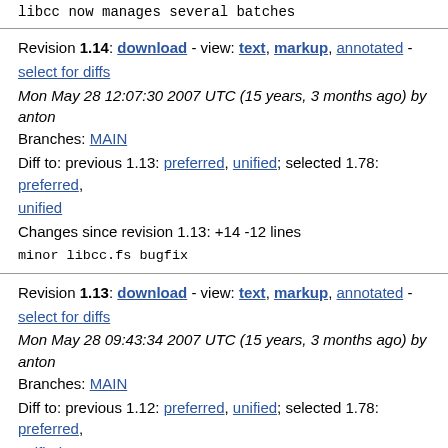libcc now manages several batches
Revision 1.14: download - view: text, markup, annotated - select for diffs
Mon May 28 12:07:30 2007 UTC (15 years, 3 months ago) by anton
Branches: MAIN
Diff to: previous 1.13: preferred, unified; selected 1.78: preferred, unified
Changes since revision 1.13: +14 -12 lines
minor libcc.fs bugfix
Revision 1.13: download - view: text, markup, annotated - select for diffs
Mon May 28 09:43:34 2007 UTC (15 years, 3 months ago) by anton
Branches: MAIN
Diff to: previous 1.12: preferred, unified; selected 1.78: preferred, unified
Changes since revision 1.12: +1 -33 lines
split test/libcc.fs from libcc.fs
Revision 1.12: download - view: text, markup, annotated - select for diffs